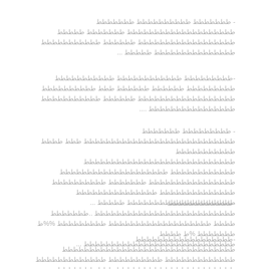- ططططططط طططططططططط ططططططط طططططططططططططططططططط ططططططط ططططط طططططططططططططططططط طططططط ططططططططططط ططططططططططططططط ططططط ...
-ططططططططط طططططططططططط ططططططططططط ططططططططط طططططط طططططط ططط طططططططططط طططططططططططططططططط طططططط ططططططططططط طططططططططططططططط ....
- ططططططططط ططططططط طططططططططططططططططططططططططططط ططط طططط ططططططططططط طططططططططططططططططططططططططططط طططططططططططط طططططططططططططططططططط طططططططططططططططط ططططططط طططططططططط طططططططططططططط ططططططططططططططط طططططططططططططططططططط ططططط ...
-طططططططططططط طططططططططططططططططططططططططط ..ططططططط طططط ططططططططططططططططططط ططططططططط %%ط ططططططط %ط طططط طططططططططططططططططططططططططططط ...
-طططططططططططططططططط طططططططططططططططططططططططططططططططط ططططططططططططط طططططططططط ططططططططططططط طططططططططططططططططططططط ططط ططططططط طططططططططططططططط طططط